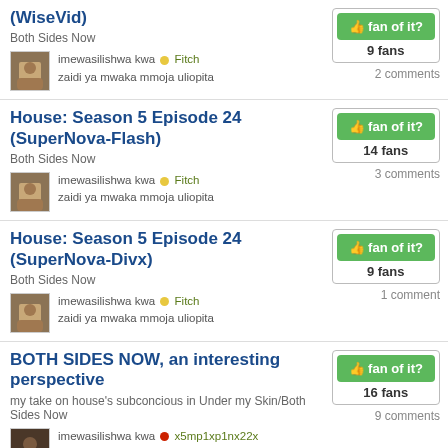(WiseVid) - Both Sides Now - 9 fans - 2 comments - imewasilishwa kwa Fitch, zaidi ya mwaka mmoja uliopita
House: Season 5 Episode 24 (SuperNova-Flash) - Both Sides Now - 14 fans - 3 comments - imewasilishwa kwa Fitch, zaidi ya mwaka mmoja uliopita
House: Season 5 Episode 24 (SuperNova-Divx) - Both Sides Now - 9 fans - 1 comment - imewasilishwa kwa Fitch, zaidi ya mwaka mmoja uliopita
BOTH SIDES NOW, an interesting perspective - my take on house's subconcious in Under my Skin/Both Sides Now - 16 fans - 9 comments - imewasilishwa kwa x5mp1xp1nx22x, zaidi ya mwaka mmoja uliopita
'House' finale postmortem: Spoilers